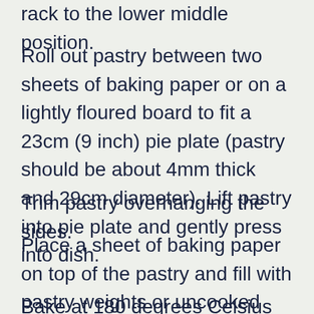rack to the lower middle position.
Roll out pastry between two sheets of baking paper or on a lightly floured board to fit a 23cm (9 inch) pie plate (pastry should be about 4mm thick and 29cm diameter). Lift pastry into pie plate and gently press into dish.
Trim pastry overhanging the sides.
Place a sheet of baking paper on top of the pastry and fill with pastry weights or uncooked rice.
Bake at 180 degrees Celsius (160 degrees...